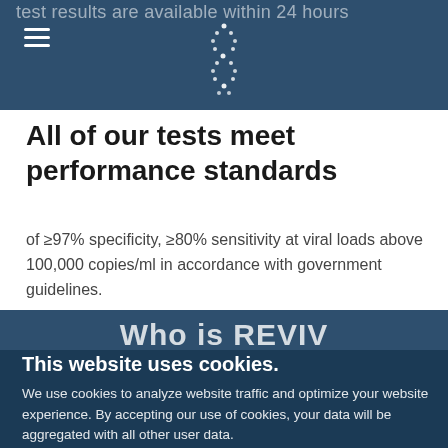test results are available within 24 hours
All of our tests meet performance standards
of ≥97% specificity, ≥80% sensitivity at viral loads above 100,000 copies/ml in accordance with government guidelines.
Who is REVIV
This website uses cookies.
We use cookies to analyze website traffic and optimize your website experience. By accepting our use of cookies, your data will be aggregated with all other user data.